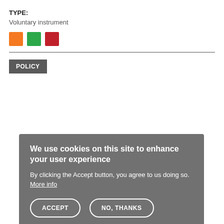TYPE:
Voluntary instrument
[Figure (other): Three colored squares: orange, green, red]
POLICY
We use cookies on this site to enhance your user experience
By clicking the Accept button, you agree to us doing so. More info
ACCEPT   NO, THANKS